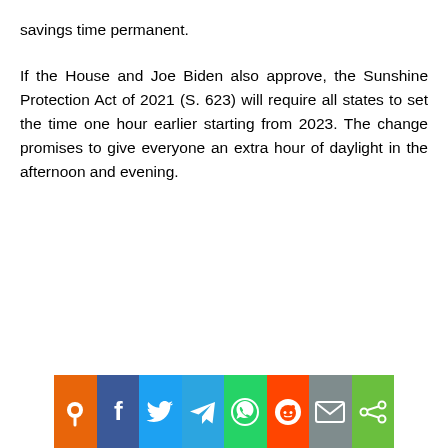savings time permanent.
If the House and Joe Biden also approve, the Sunshine Protection Act of 2021 (S. 623) will require all states to set the time one hour earlier starting from 2023. The change promises to give everyone an extra hour of daylight in the afternoon and evening.
[Figure (other): Social sharing bar with icons: orange pin/location button, Facebook (blue), Twitter (light blue), Telegram (blue with image), WhatsApp (green), Reddit (orange-red), Email (gray), Share more (green)]